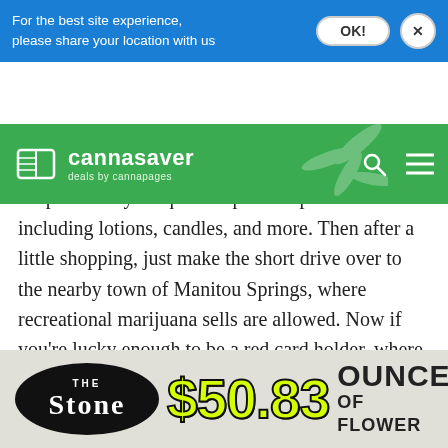For the best site experience, please share your location with us
[Figure (logo): Cannasaver logo - deals by cannapages, green navigation bar with search and menu icons, cannabis leaf background]
have a front of the house section where you can shop for many unique hemp-based products including lotions, candles, and more. Then after a little shopping, just make the short drive over to the nearby town of Manitou Springs, where recreational marijuana sells are allowed. Now if you're lucky enough to be a red card holder, where to buy weed in Colorado Springs is a matter of knowing where to find the best concentrate deals, best dispensaries for edibles, best deals on marijuana flower, best daily
[Figure (infographic): The Stone dispensary advertisement banner: black oval logo with THE STONE text, $50.83 in large yellow text, OUNCE OF FLOWER text on right]